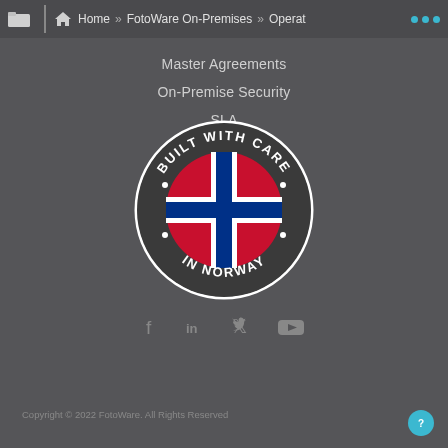Home » FotoWare On-Premises » Operat ...
Master Agreements
On-Premise Security
SLA
[Figure (logo): Circular badge logo reading 'BUILT WITH CARE IN NORWAY' with the Norwegian flag (red background, blue and white cross) in the center]
[Figure (infographic): Social media icons: Facebook, LinkedIn, Twitter, YouTube in grey]
Copyright © 2022 FotoWare. All Rights Reserved